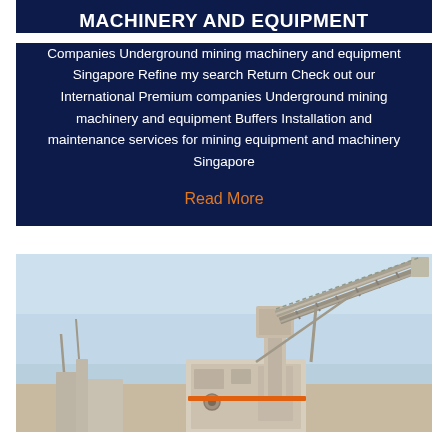MACHINERY AND EQUIPMENT
Companies Underground mining machinery and equipment Singapore Refine my search Return Check out our International Premium companies Underground mining machinery and equipment Buffers Installation and maintenance services for mining equipment and machinery Singapore
Read More
[Figure (photo): A large industrial mining conveyor belt structure with a diagonal arm extending upward to the right, mounted on a white/grey industrial base unit, photographed against a light blue sky.]